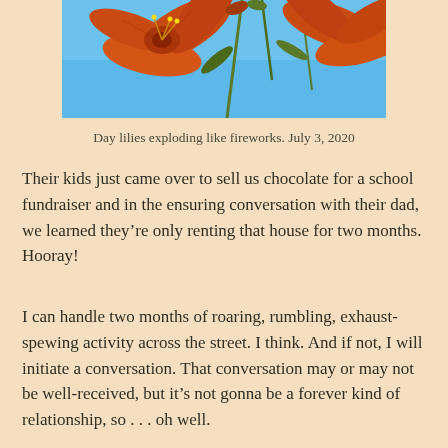[Figure (photo): Close-up photo of orange day lily flowers against a blue sky background]
Day lilies exploding like fireworks. July 3, 2020
Their kids just came over to sell us chocolate for a school fundraiser and in the ensuring conversation with their dad, we learned they’re only renting that house for two months. Hooray!
I can handle two months of roaring, rumbling, exhaust-spewing activity across the street. I think. And if not, I will initiate a conversation. That conversation may or may not be well-received, but it’s not gonna be a forever kind of relationship, so . . . oh well.